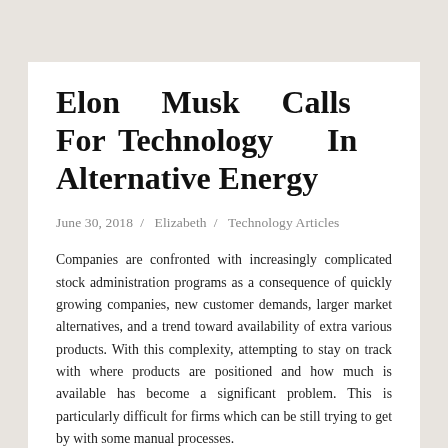Elon Musk Calls For Technology In Alternative Energy
June 30, 2018 / Elizabeth / Technology Articles
Companies are confronted with increasingly complicated stock administration programs as a consequence of quickly growing companies, new customer demands, larger market alternatives, and a trend toward availability of extra various products. With this complexity, attempting to stay on track with where products are positioned and how much is available has become a significant problem. This is particularly difficult for firms which can be still trying to get by with some manual processes.
I even have a new son and I intend to keep him away from television, at least most of it, aside from academic stuff. I won't ever simply depart him playing video games and touch screens and so